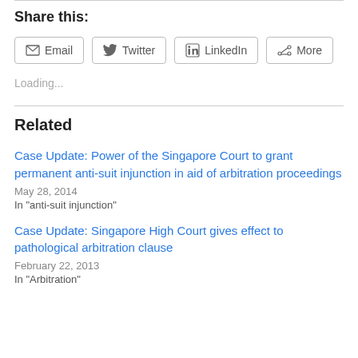Share this:
[Figure (other): Share buttons row: Email, Twitter, LinkedIn, More]
Loading...
Related
Case Update: Power of the Singapore Court to grant permanent anti-suit injunction in aid of arbitration proceedings
May 28, 2014
In "anti-suit injunction"
Case Update: Singapore High Court gives effect to pathological arbitration clause
February 22, 2013
In "Arbitration"